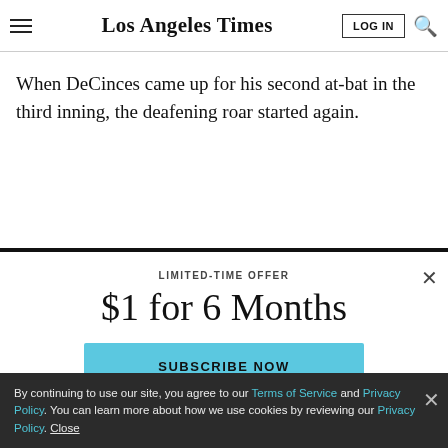Los Angeles Times
When DeCinces came up for his second at-bat in the third inning, the deafening roar started again.
LIMITED-TIME OFFER
$1 for 6 Months
SUBSCRIBE NOW
By continuing to use our site, you agree to our Terms of Service and Privacy Policy. You can learn more about how we use cookies by reviewing our Privacy Policy. Close